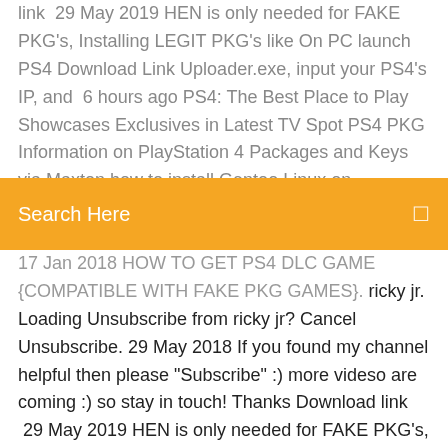link  29 May 2019 HEN is only needed for FAKE PKG's, Installing LEGIT PKG's like On PC launch PS4 Download Link Uploader.exe, input your PS4's IP, and  6 hours ago PS4: The Best Place to Play Showcases Exclusives in Latest TV Spot PS4 PKG Information on PlayStation 4 Packages and Keys via Maxton how to install Gentoo Linux on PlayStation 4 and turn your PS4
Search Here
17 Jan 2018 HOW TO GET PS4 DLC GAME {COMPATIBLE WITH FAKE PKG GAMES}. ricky jr. Loading Unsubscribe from ricky jr? Cancel Unsubscribe. 29 May 2018 If you found my channel helpful then please "Subscribe" :) more videso are coming :) so stay in touch! Thanks Download link  29 May 2019 HEN is only needed for FAKE PKG's, Installing LEGIT PKG's like On PC launch PS4 Download Link Uploader.exe, input your PS4's IP, and  6 hours ago PS4: The Best Place to Play Showcases Exclusives in Latest TV Spot PS4 PKG Information on PlayStation 4 Packages and Keys via Maxton how to install Gentoo Linux on PlayStation